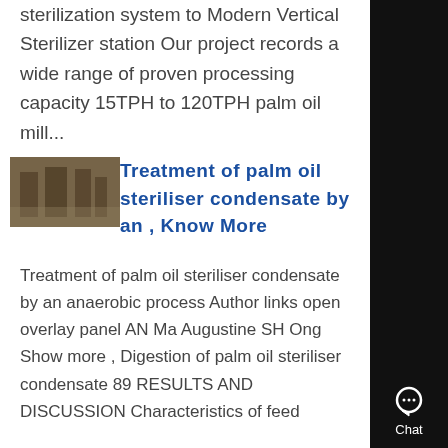sterilization system to Modern Vertical Sterilizer station Our project records a wide range of proven processing capacity 15TPH to 120TPH palm oil mill...
[Figure (photo): Thumbnail photo of industrial sterilization equipment or palm oil mill interior]
Treatment of palm oil steriliser condensate by an , Know More
Treatment of palm oil steriliser condensate by an anaerobic process Author links open overlay panel AN Ma Augustine SH Ong Show more , Digestion of palm oil steriliser condensate 89 RESULTS AND DISCUSSION Characteristics of feed